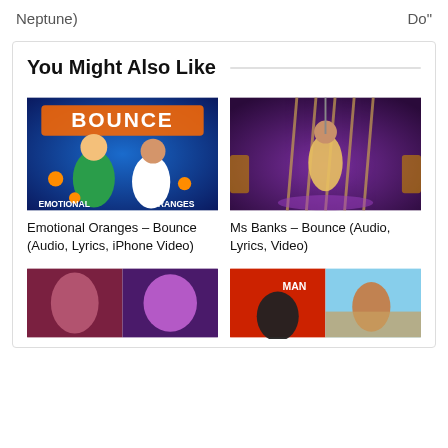Neptune)        Do"
You Might Also Like
[Figure (photo): Emotional Oranges - Bounce album art with two animated characters on blue background with oranges and BOUNCE text]
Emotional Oranges – Bounce (Audio, Lyrics, iPhone Video)
[Figure (photo): Ms Banks - Bounce video still showing a person in a golden cage/circus setting with purple lighting]
Ms Banks – Bounce (Audio, Lyrics, Video)
[Figure (photo): Collage of two images showing figures in pink/purple clothing]
[Figure (photo): Collage of two images: left shows MAN text on red background with person, right shows woman outdoors in orange]